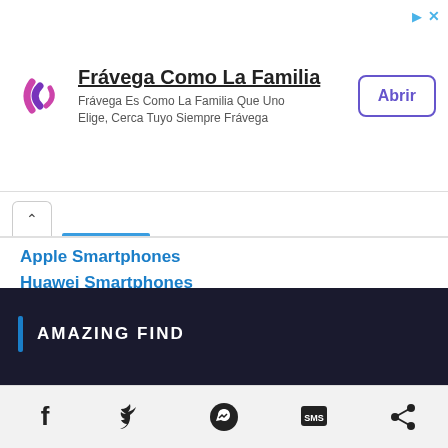[Figure (infographic): Advertisement banner for Frávega Como La Familia with logo, text, and Abrir button]
Apple Smartphones
Huawei Smartphones
Nokia Mobile Phones and Tablets
OPPO Smartphones
realme Smartphones and Tablets
Samsung Smartphones and Tablets
Vivo Smartphones
AMAZING FIND
Facebook  Twitter  Messenger  SMS  Share